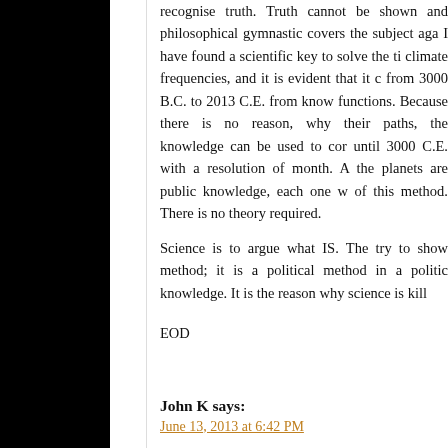recognise truth. Truth cannot be shown and philosophical gymnastic covers the subject aga... I have found a scientific key to solve the ti... climate frequencies, and it is evident that it c... from 3000 B.C. to 2013 C.E. from know... functions. Because there is no reason, why their paths, the knowledge can be used to cor... until 3000 C.E. with a resolution of month. A... the planets are public knowledge, each one w... of this method. There is no theory required.

Science is to argue what IS. The try to show... method; it is a political method in a politic... knowledge. It is the reason why science is kill...
EOD
John K says:
June 13, 2013 at 6:42 PM